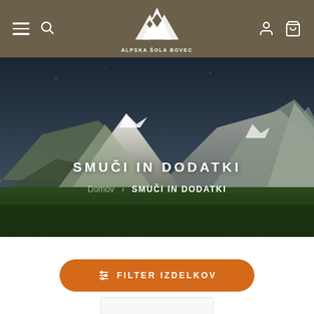[Figure (screenshot): Website header navigation bar with dark brown/olive background. Hamburger menu and search icon on left, 'Alpska Šola Bovec' mountain logo centered, user account and cart icons on right.]
[Figure (photo): Alpine landscape hero image showing snow-capped mountains in background, green meadow in foreground, dark dramatic sky. Overlay text 'SMUČI IN DODATKI' and breadcrumb 'Domov > SMUČI IN DODATKI'.]
SMUČI IN DODATKI
Domov > SMUČI IN DODATKI
[Figure (screenshot): Orange rounded filter button labeled 'FILTER IZDELKOV' with filter/sliders icon on white background section.]